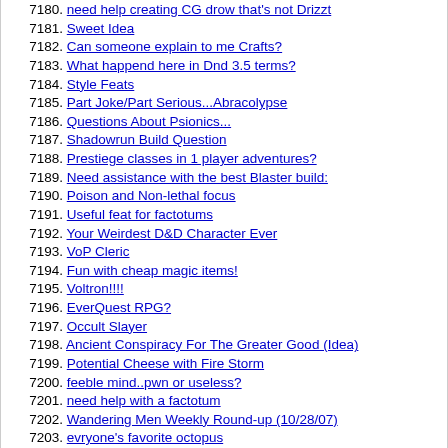7180. need help creating CG drow that's not Drizzt
7181. Sweet Idea
7182. Can someone explain to me Crafts?
7183. What happend here in Dnd 3.5 terms?
7184. Style Feats
7185. Part Joke/Part Serious...Abracolypse
7186. Questions About Psionics...
7187. Shadowrun Build Question
7188. Prestiege classes in 1 player adventures?
7189. Need assistance with the best Blaster build:
7190. Poison and Non-lethal focus
7191. Useful feat for factotums
7192. Your Weirdest D&D Character Ever
7193. VoP Cleric
7194. Fun with cheap magic items!
7195. Voltron!!!!
7196. EverQuest RPG?
7197. Occult Slayer
7198. Ancient Conspiracy For The Greater Good (Idea)
7199. Potential Cheese with Fire Storm
7200. feeble mind..pwn or useless?
7201. need help with a factotum
7202. Wandering Men Weekly Round-up (10/28/07)
7203. evryone's favorite octopus
7204. Werewolves vs. Vampires
7205. Lawful Barbarian?
7206. "Multiple similar abilities"?
7207. Drow of the Underdark question...
7208. Low-level Cleric Advice Thread
7209. Tome of Battle Gestalt Quandary